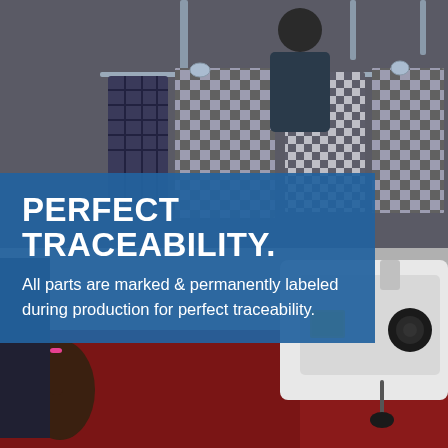[Figure (photo): Factory/manufacturing scene: top half shows checkered/plaid fabric garments hanging on metal rails in a production facility with a worker visible; bottom half shows an industrial sewing machine (white body with black components) on a red surface.]
PERFECT TRACEABILITY.
All parts are marked & permanently labeled during production for perfect traceability.